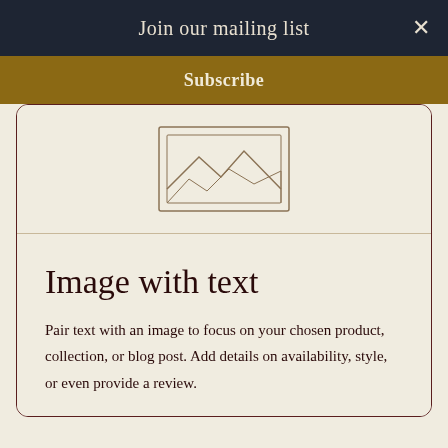Join our mailing list
×
Subscribe
[Figure (illustration): Placeholder image icon showing mountains/landscape line drawing inside a rectangular frame]
Image with text
Pair text with an image to focus on your chosen product, collection, or blog post. Add details on availability, style, or even provide a review.